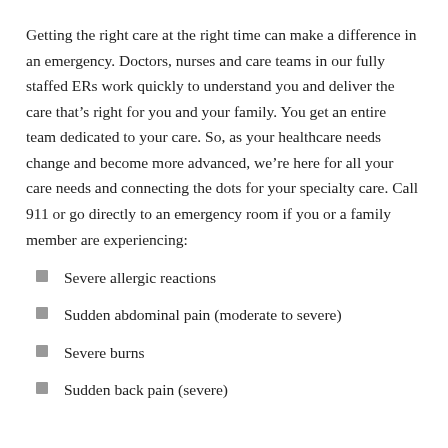Getting the right care at the right time can make a difference in an emergency. Doctors, nurses and care teams in our fully staffed ERs work quickly to understand you and deliver the care that's right for you and your family. You get an entire team dedicated to your care. So, as your healthcare needs change and become more advanced, we're here for all your care needs and connecting the dots for your specialty care. Call 911 or go directly to an emergency room if you or a family member are experiencing:
Severe allergic reactions
Sudden abdominal pain (moderate to severe)
Severe burns
Sudden back pain (severe)